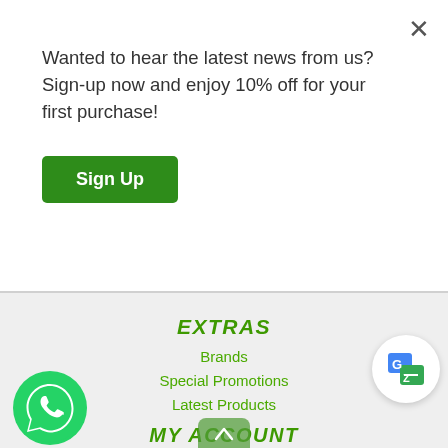Wanted to hear the latest news from us? Sign-up now and enjoy 10% off for your first purchase!
Sign Up
EXTRAS
Brands
Special Promotions
Latest Products
Bestseller
Featured Products
[Figure (logo): Google Translate icon in a white circle bubble]
MY ACCOUNT
My Account
Order History
[Figure (logo): WhatsApp green circle icon button]